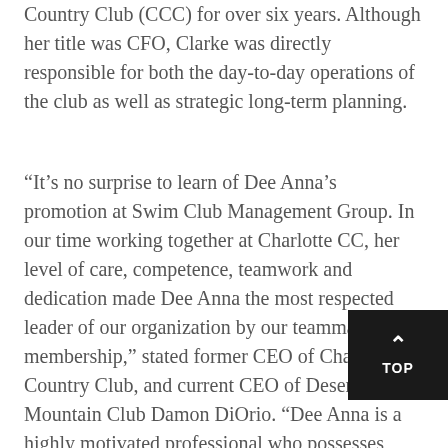Country Club (CCC) for over six years. Although her title was CFO, Clarke was directly responsible for both the day-to-day operations of the club as well as strategic long-term planning.
“It’s no surprise to learn of Dee Anna’s promotion at Swim Club Management Group. In our time working together at Charlotte CC, her level of care, competence, teamwork and dedication made Dee Anna the most respected leader of our organization by our teammates and membership,” stated former CEO of Charlotte Country Club, and current CEO of Desert Mountain Club Damon DiOrio. “Dee Anna is a highly motivated professional who possesses exceptional communication skills, perceptive intuition and is an innovator with a nothing-but-the-best”